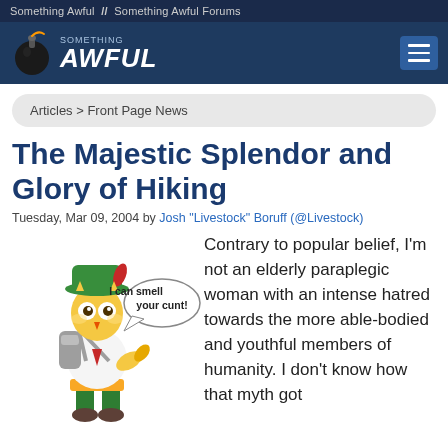Something Awful  //  Something Awful Forums
[Figure (logo): Something Awful logo with bomb mascot on dark navy background, with hamburger menu button]
Articles > Front Page News
The Majestic Splendor and Glory of Hiking
Tuesday, Mar 09, 2004 by Josh "Livestock" Boruff (@Livestock)
[Figure (illustration): Cartoon owl mascot dressed as hiker with green hat, backpack, saying 'I can smell your cunt!' in a speech bubble]
Contrary to popular belief, I'm not an elderly paraplegic woman with an intense hatred towards the more able-bodied and youthful members of humanity. I don't know how that myth got